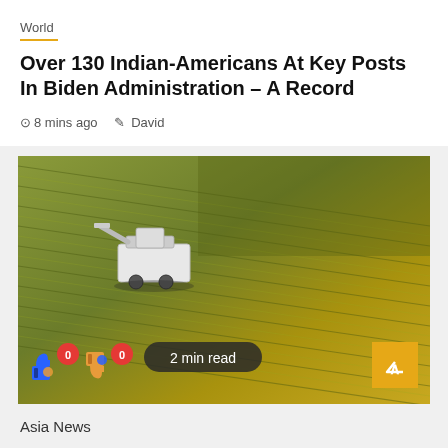World
Over 130 Indian-Americans At Key Posts In Biden Administration – A Record
8 mins ago   David
[Figure (photo): Aerial view of a harvesting machine working in a large rice or grain field, with green and golden-brown crop rows. Overlay shows thumbs up/down icons with 0 counts, a '2 min read' pill, and a scroll-up button.]
Asia News